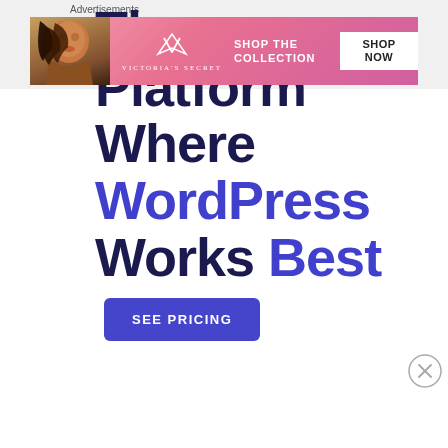The Platform Where WordPress Works Best
[Figure (other): Blue rounded rectangle button with white uppercase text 'SEE PRICING']
[Figure (other): Circle close/dismiss button with X symbol]
Advertisements
[Figure (other): Victoria's Secret advertisement banner with pink gradient background, model photo on left, VS logo, 'SHOP THE COLLECTION' text, and 'SHOP NOW' white button on right]